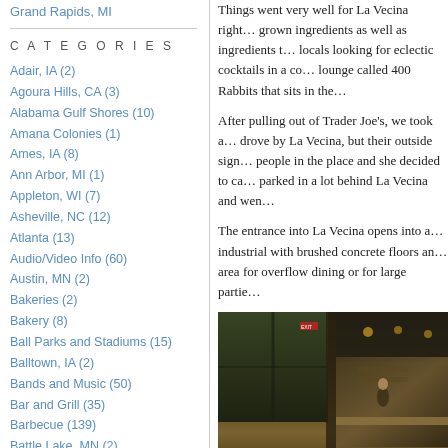Grand Rapids, MI
CATEGORIES
Adair, IA (2)
Agoura Hills, CA (3)
Alabama Gulf Shores (10)
Amana Colonies (1)
Ames, IA (8)
Ann Arbor, MI (1)
Appleton, WI (7)
Asheville, NC (12)
Atlanta (13)
Audio/Video Info (60)
Austin, MN (2)
Bakeries (2)
Bakery (8)
Ball Parks and Stadiums (15)
Balltown, IA (2)
Bands and Music (50)
Bar and Grill (35)
Barbecue (139)
Battle Lake, MN (2)
Beer (28)
Beer Bars/Pubs (152)
Beer, Wine and Liquor Stores (30)
Things went very well for La Vecina right … grown ingredients as well as ingredients t… locals looking for eclectic cocktails in a co… lounge called 400 Rabbits that sits in the…
After pulling out of Trader Joe's, we took a… drove by La Vecina, but their outside sign… people in the place and she decided to ca… parked in a lot behind La Vecina and wen…
The entrance into La Vecina opens into a… industrial with brushed concrete floors an… area for overflow dining or for large partie…
[Figure (photo): Interior of La Vecina restaurant showing dining area with wooden chairs and tables, concrete floors, large windows, and bar/counter area in background with warm ambient lighting.]
The lighting in the restaurant was also sub… flashlights on our phones to look at the m… Little votive candles were lit on each tabl…